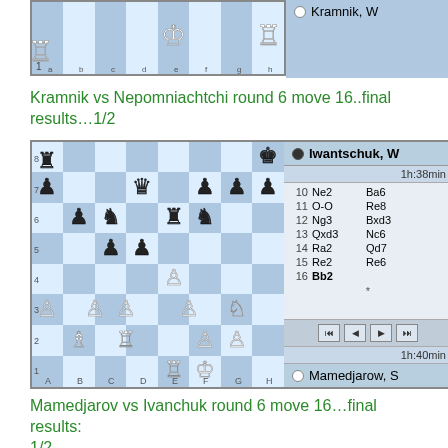[Figure (screenshot): Chess board showing Kramnik vs Nepomniachtchi game position with player panel showing Kramnik, W]
Kramnik vs Nepomniachtchi round 6 move 16..final results…1/2
[Figure (screenshot): Chess board showing Mamedjarov vs Iwantschuk game at move 16 with move list showing moves 10-16 and player panels for Iwantschuk, W and Mamedjarow, S]
Mamedjarov vs Ivanchuk round 6 move 16…final results: 1/2